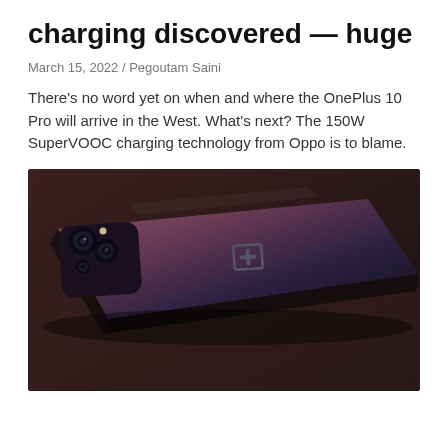charging discovered — huge
March 15, 2022 / Pegoutam Saini
There's no word yet on when and where the OnePlus 10 Pro will arrive in the West. What's next? The 150W SuperVOOC charging technology from Oppo is to blame.
[Figure (photo): OnePlus 10 Pro smartphone lying on its back on a dark brown surface, showing the rear camera module and OnePlus logo. The phone has a gradient finish from pinkish-purple to dark blue/black.]